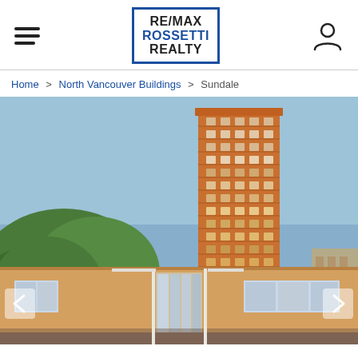[Figure (logo): RE/MAX Rossetti Realty logo in blue border box]
Home > North Vancouver Buildings > Sundale
[Figure (photo): Exterior photo of Sundale building in North Vancouver — a tall brick residential tower behind a low-rise building, with trees in the foreground and blue sky background]